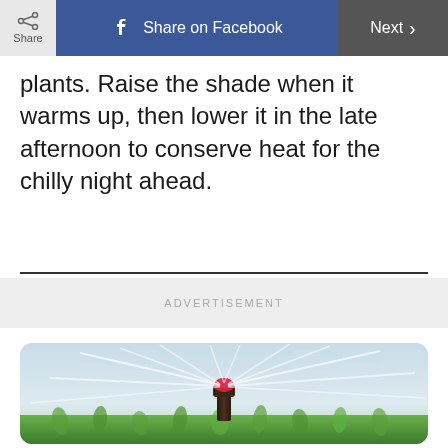Share | Share on Facebook | Next
plants. Raise the shade when it warms up, then lower it in the late afternoon to conserve heat for the chilly night ahead.
ADVERTISEMENT
[Figure (photo): A lawn sprinkler head spraying water in all directions over green grass, close-up shot with water spray lines visible against a light background.]